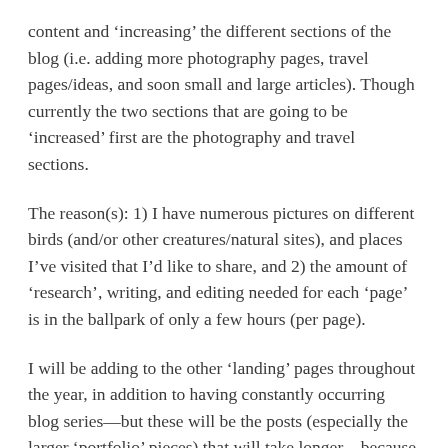content and ‘increasing’ the different sections of the blog (i.e. adding more photography pages, travel pages/ideas, and soon small and large articles). Though currently the two sections that are going to be ‘increased’ first are the photography and travel sections.
The reason(s): 1) I have numerous pictures on different birds (and/or other creatures/natural sites), and places I’ve visited that I’d like to share, and 2) the amount of ‘research’, writing, and editing needed for each ‘page’ is in the ballpark of only a few hours (per page).
I will be adding to the other ‘landing’ pages throughout the year, in addition to having constantly occurring blog series—but these will be the posts (especially the larger ‘portfolio’ pieces) that will take longer—because of 1) the amount of research I will be needing to do; 2) determining the best